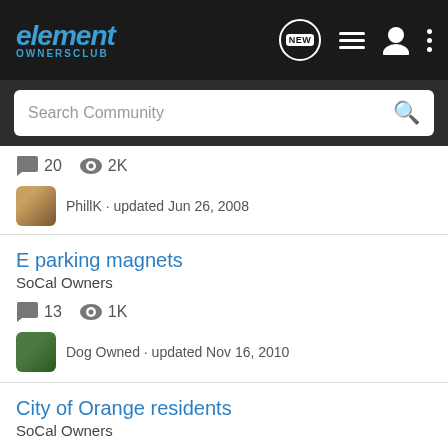element OWNERSCLUB
Search Community
20  2K
PhillK · updated Jun 26, 2008
E parking magnets
SoCal Owners
13  1K
Dog Owned · updated Nov 16, 2010
City of Orange residents
SoCal Owners
26
[Figure (screenshot): Pedal Commander advertisement banner with orange/black graphic and star logo, text: YOU WILL SMILE 100% WITH PEDAL COMMANDER]